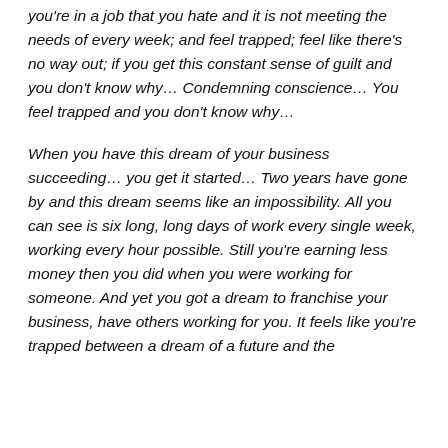you're in a job that you hate and it is not meeting the needs of every week; and feel trapped; feel like there's no way out; if you get this constant sense of guilt and you don't know why… Condemning conscience… You feel trapped and you don't know why…
When you have this dream of your business succeeding… you get it started… Two years have gone by and this dream seems like an impossibility. All you can see is six long, long days of work every single week, working every hour possible. Still you're earning less money then you did when you were working for someone. And yet you got a dream to franchise your business, have others working for you. It feels like you're trapped between a dream of a future and the